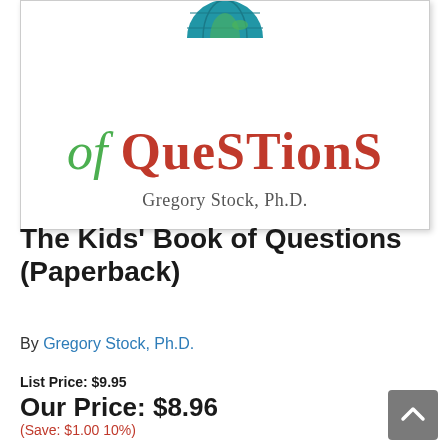[Figure (illustration): Book cover showing partial view with text 'of QUESTIONS' in green italic and red bold, and author name 'Gregory Stock, Ph.D.' below in gray serif font, on white background with globe graphic at top]
The Kids' Book of Questions (Paperback)
By Gregory Stock, Ph.D.
List Price: $9.95
Our Price: $8.96
(Save: $1.00 10%)